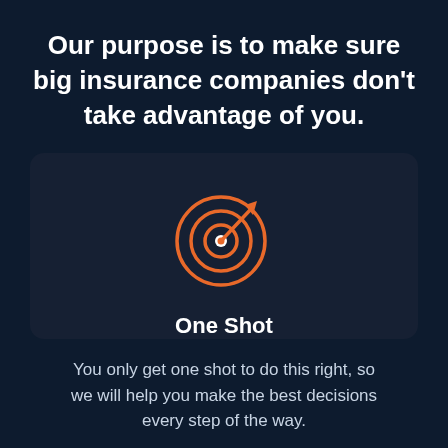Our purpose is to make sure big insurance companies don't take advantage of you.
[Figure (illustration): Orange target/bullseye icon with an arrow hitting the center, on a dark blue card background]
One Shot
You only get one shot to do this right, so we will help you make the best decisions every step of the way.